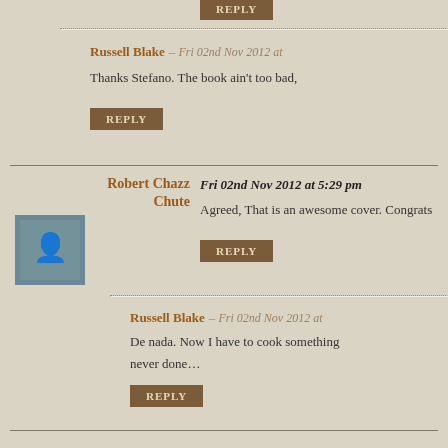REPLY (button, top)
Russell Blake — Fri 02nd Nov 2012 at
Thanks Stefano. The book ain't too bad,
REPLY (button)
Robert Chazz Chute
Fri 02nd Nov 2012 at 5:29 pm
Agreed, That is an awesome cover. Congrats
REPLY (button)
Russell Blake — Fri 02nd Nov 2012 at
De nada. Now I have to cook something never done…
REPLY (button)
Matt Ballard
Fri 02nd Nov 2012 at 9:41 pm
Just bought Jet3 and can't wait to read it! Lo series! Keep up the great work!
REPLY (button)